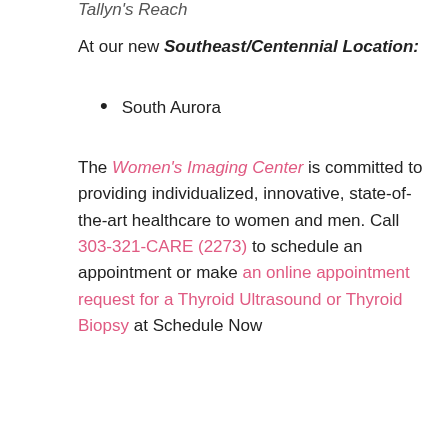Tallyn's Reach
At our new Southeast/Centennial Location:
South Aurora
The Women's Imaging Center is committed to providing individualized, innovative, state-of-the-art healthcare to women and men. Call 303-321-CARE (2273) to schedule an appointment or make an online appointment request for a Thyroid Ultrasound or Thyroid Biopsy at Schedule Now